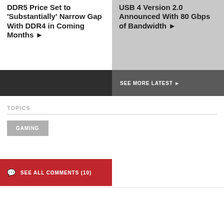DDR5 Price Set to 'Substantially' Narrow Gap With DDR4 in Coming Months ►
USB 4 Version 2.0 Announced With 80 Gbps of Bandwidth ►
SEE MORE LATEST ►
TOPICS
GAMING
SEE ALL COMMENTS (10)